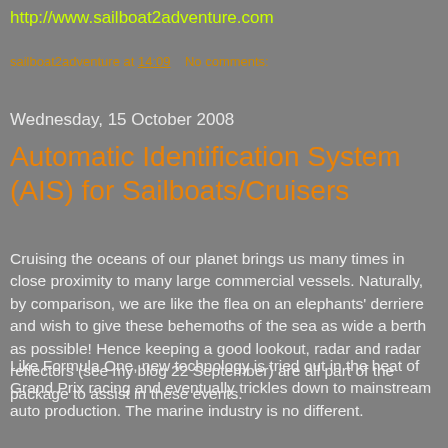http://www.sailboat2adventure.com
sailboat2adventure at 14:09    No comments:
Wednesday, 15 October 2008
Automatic Identification System (AIS) for Sailboats/Cruisers
Cruising the oceans of our planet brings us many times in close proximity to many large commercial vessels. Naturally, by comparison, we are like the flea on an elephants' derriere and wish to give these behemoths of the sea as wide a berth as possible! Hence keeping a good lookout, radar and radar reflectors (see my blog 22 September) are all part of the package to assist in these events.
Like Formula One, new technology is tried out in the heat of Grand Prix racing and eventually trickles down to mainstream auto production. The marine industry is no different.